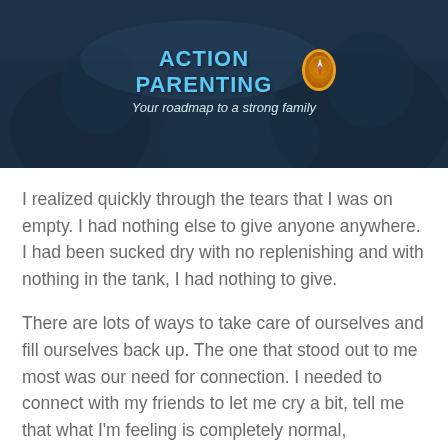[Figure (photo): Action Parenting banner image with dark blue tinted photo of people, showing the logo text 'ACTION PARENTING' in cyan and subtitle 'Your roadmap to a strong family' with a compass icon]
I realized quickly through the tears that I was on empty. I had nothing else to give anyone anywhere. I had been sucked dry with no replenishing and with nothing in the tank, I had nothing to give.
There are lots of ways to take care of ourselves and fill ourselves back up. The one that stood out to me most was our need for connection. I needed to connect with my friends to let me cry a bit, tell me that what I'm feeling is completely normal,